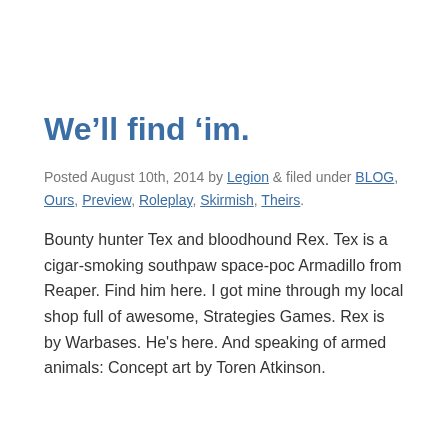We'll find 'im.
Posted August 10th, 2014 by Legion & filed under BLOG, Ours, Preview, Roleplay, Skirmish, Theirs.
Bounty hunter Tex and bloodhound Rex. Tex is a cigar-smoking southpaw space-poc Armadillo from Reaper. Find him here. I got mine through my local shop full of awesome, Strategies Games. Rex is by Warbases. He's here. And speaking of armed animals: Concept art by Toren Atkinson.